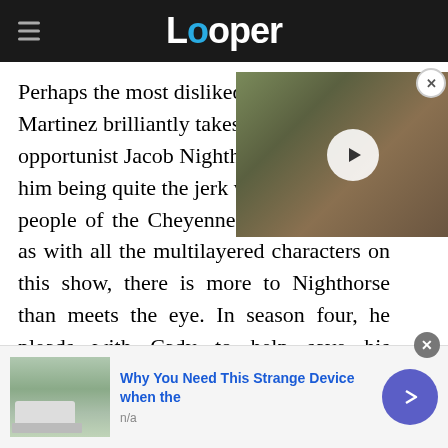Looper
Perhaps the most disliked character, Martinez brilliantly takes on the role of opportunist Jacob Nighthorse, with him being quite the jerk who... people of the Cheyenne reservation. Yet, as with all the multilayered characters on this show, there is more to Nighthorse than meets the eye. In season four, he pleads with Cady to help save his business.
[Figure (screenshot): Video thumbnail showing a man's face, with a play button overlay]
[Figure (photo): Advertisement image showing utility trucks and power lines]
Why You Need This Strange Device when the
n/a